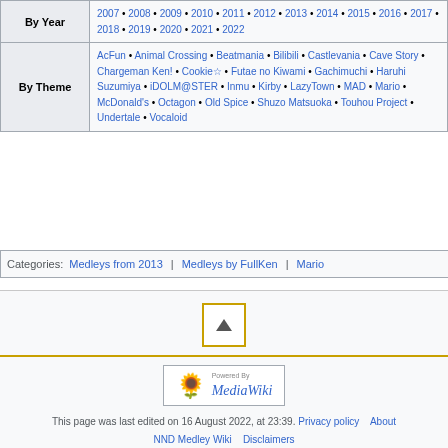| Category | Links |
| --- | --- |
| By Year | 2007 • 2008 • 2009 • 2010 • 2011 • 2012 • 2013 • 2014 • 2015 • 2016 • 2017 • 2018 • 2019 • 2020 • 2021 • 2022 |
| By Theme | AcFun • Animal Crossing • Beatmania • Bilibili • Castlevania • Cave Story • Chargeman Ken! • Cookie☆ • Futae no Kiwami • Gachimuchi • Haruhi Suzumiya • iDOLM@STER • Inmu • Kirby • LazyTown • MAD • Mario • McDonald's • Octagon • Old Spice • Shuzo Matsuoka • Touhou Project • Undertale • Vocaloid |
Categories: Medleys from 2013 | Medleys by FullKen | Mario
[Figure (other): Back to top button with upward triangle arrow, bordered in gold/yellow]
[Figure (logo): Powered by MediaWiki badge with sunflower icon]
This page was last edited on 16 August 2022, at 23:39. Privacy policy About NND Medley Wiki Disclaimers